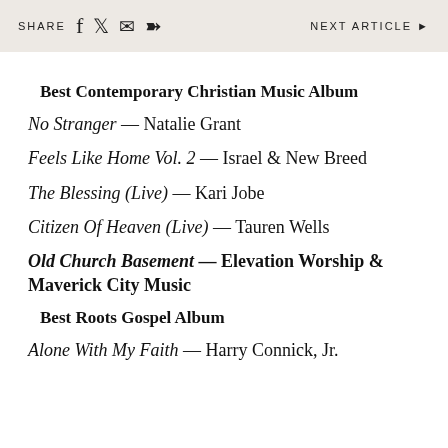SHARE  f  twitter  mail  whatsapp    NEXT ARTICLE ▶
Best Contemporary Christian Music Album
No Stranger — Natalie Grant
Feels Like Home Vol. 2 — Israel & New Breed
The Blessing (Live) — Kari Jobe
Citizen Of Heaven (Live) — Tauren Wells
Old Church Basement — Elevation Worship & Maverick City Music
Best Roots Gospel Album
Alone With My Faith — Harry Connick, Jr.